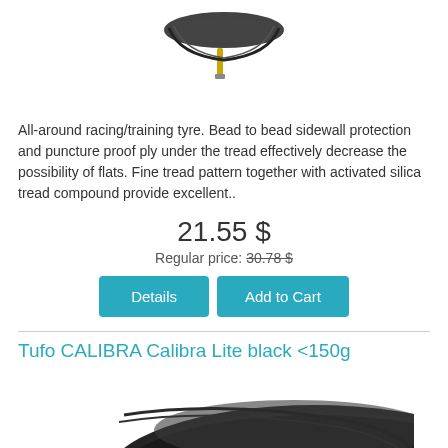[Figure (photo): Partial image of a bicycle tyre (top portion cut off), showing the tyre product on white background.]
All-around racing/training tyre. Bead to bead sidewall protection and puncture proof ply under the tread effectively decrease the possibility of flats. Fine tread pattern together with activated silica tread compound provide excellent..
21.55 $
Regular price: 30.78 $
Details
Add to Cart
Tufo CALIBRA Calibra Lite black <150g
[Figure (photo): Photo of a black Tufo CALIBRA Lite bicycle tyre, showing the tyre profile with CALIBRA LITE branding visible.]